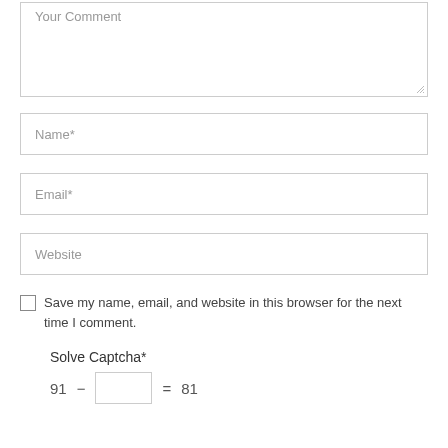Your Comment
Name*
Email*
Website
Save my name, email, and website in this browser for the next time I comment.
Solve Captcha*
91 − [input] = 81